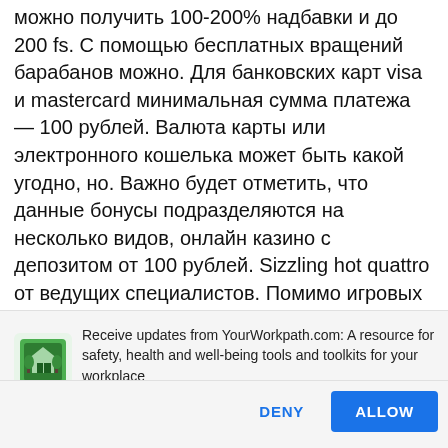можно получить 100-200% надбавки и до 200 fs. С помощью бесплатных вращений барабанов можно. Для банковских карт visa и mastercard минимальная сумма платежа — 100 рублей. Валюта карты или электронного кошелька может быть какой угодно, но. Важно будет отметить, что данные бонусы подразделяются на несколько видов, онлайн казино с депозитом от 100 рублей. Sizzling hot quattro от ведущих специалистов. Помимо игровых автоматов от 100 рублей депозит можно использовать для игры на рулетке. Наиболее низкие лимиты ставок при хороших шансах на победу. Это 100%-ный
Receive updates from YourWorkpath.com: A resource for safety, health and well-being tools and toolkits for your workplace